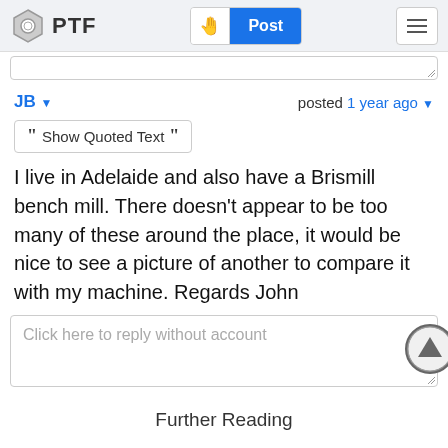PTF  Post
JB  posted 1 year ago
Show Quoted Text
I live in Adelaide and also have a Brismill bench mill. There doesn't appear to be too many of these around the place, it would be nice to see a picture of another to compare it with my machine. Regards John
Click here to reply without account
Further Reading